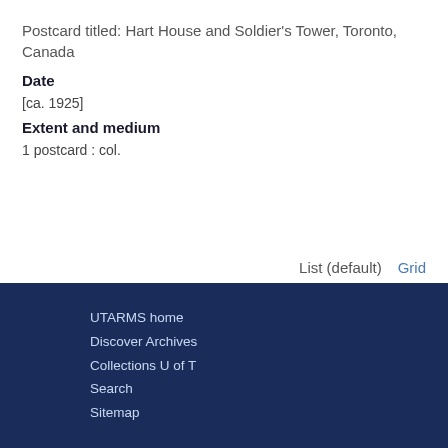Postcard titled: Hart House and Soldier's Tower, Toronto, Canada
Date
[ca. 1925]
Extent and medium
1 postcard : col.
List (default)   Grid
UTARMS home
Discover Archives
Collections U of T
Search
Sitemap